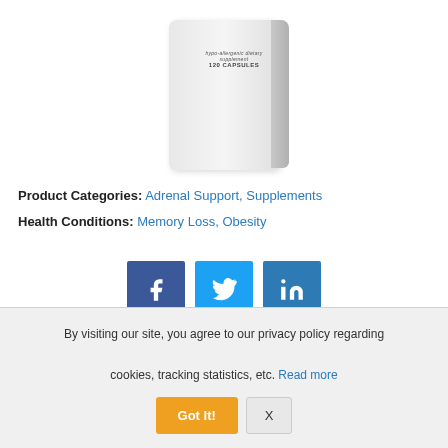[Figure (photo): Partial view of a white supplement bottle with label reading 'hypo-allergenic dietary supplement 120 CAPSULES']
Product Categories: Adrenal Support, Supplements
Health Conditions: Memory Loss, Obesity
[Figure (infographic): Three social share buttons: Facebook (dark blue), Twitter (light blue), LinkedIn (medium blue)]
By visiting our site, you agree to our privacy policy regarding cookies, tracking statistics, etc. Read more
Got It!   X